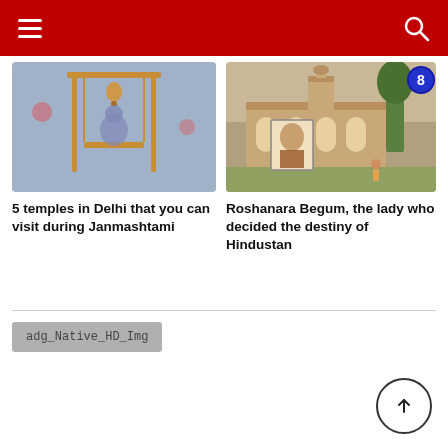Navigation header with hamburger menu and search icon
[Figure (photo): Photo of a Krishna idol in a decorative gold swing setup with bells]
5 temples in Delhi that you can visit during Janmashtami
[Figure (photo): Photo of Roshanara Begum's tomb/monument - a historic sandstone building with arched corridors, with a small inset portrait of a Mughal lady]
Roshanara Begum, the lady who decided the destiny of Hindustan
adg_Native_HD_Img